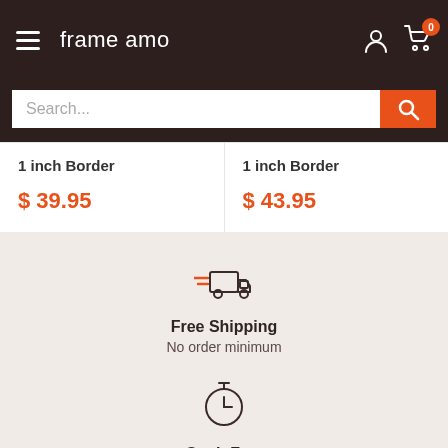frame amo
Search...
1 inch Border
$ 39.95
1 inch Border
$ 43.95
[Figure (illustration): Delivery truck icon with speed lines]
Free Shipping
No order minimum
[Figure (illustration): Stopwatch / clock icon]
Get It Fast